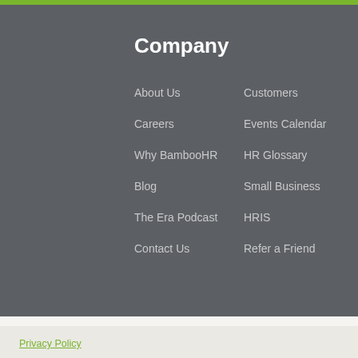Company
About Us
Customers
Careers
Events Calendar
Why BambooHR
HR Glossary
Blog
Small Business
The Era Podcast
HRIS
Contact Us
Refer a Friend
We use cookies to improve your browsing experience. By continuing to use this website, you agree to our use of cookies in accordance with our privacy policy.
Okay, thanks!
Privacy Policy